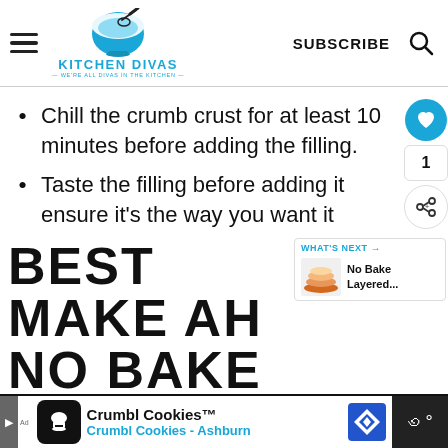KITCHEN DIVAS — WE'RE ALL DIVAS IN THE KITCHEN — | SUBSCRIBE
Chill the crumb crust for at least 10 minutes before adding the filling.
Taste the filling before adding it ensure it's the way you want it
BEST MAKE AH NO BAKE
WHAT'S NEXT → No Bake Layered...
[Figure (screenshot): Ad banner for Crumbl Cookies - Ashburn]